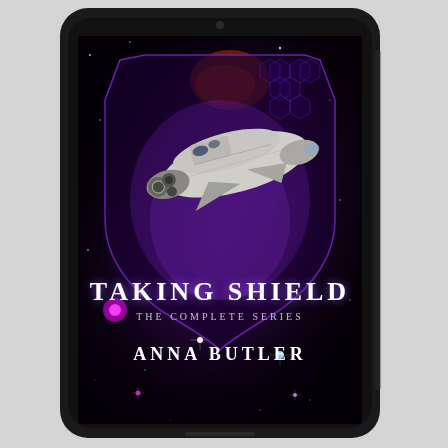[Figure (illustration): A tablet device displaying the book cover of 'Taking Shield: The Complete Series' by Anna Butler. The cover features a dark space background with a shield-shaped emblem containing a large spaceship, purple and blue nebula clouds, and star fields. The title 'TAKING SHIELD' appears in large white serif letters, below it 'THE COMPLETE SERIES' in smaller spaced letters, and 'ANNA BUTLER' at the bottom. The tablet has a black frame with rounded corners and a camera dot at the top.]